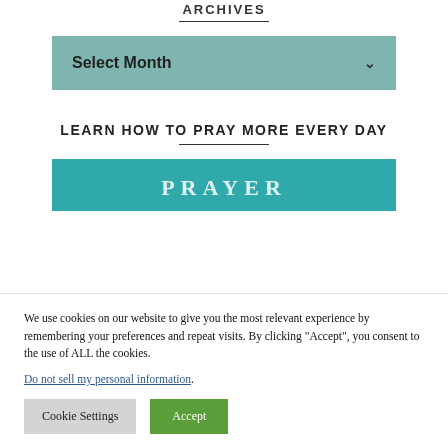ARCHIVES
Select Month
LEARN HOW TO PRAY MORE EVERY DAY
[Figure (illustration): Teal banner with text PRAYER partially visible]
We use cookies on our website to give you the most relevant experience by remembering your preferences and repeat visits. By clicking "Accept", you consent to the use of ALL the cookies.
Do not sell my personal information.
Cookie Settings
Accept